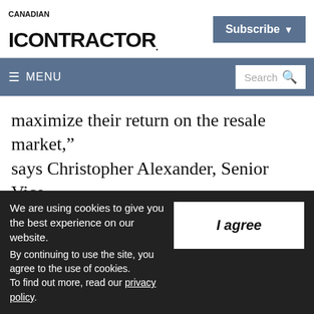ICONTRACTOR
Subscribe
≡ MENU  Search
maximize their return on the resale market," says Christopher Alexander, Senior Vice President at RE/MAX Canada. "The notion of a home as an investment resonates with Canadians, so RE/MAX is excited to return as a show sponsor and key brand
We are using cookies to give you the best experience on our website. By continuing to use the site, you agree to the use of cookies. To find out more, read our privacy policy.